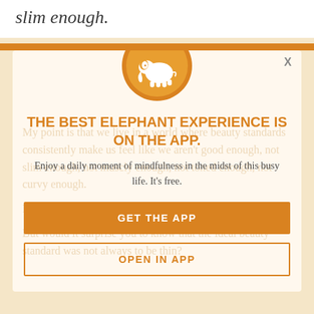slim enough.
[Figure (illustration): Orange circle with white elephant silhouette logo]
THE BEST ELEPHANT EXPERIENCE IS ON THE APP.
Enjoy a daily moment of mindfulness in the midst of this busy life. It's free.
GET THE APP
OPEN IN APP